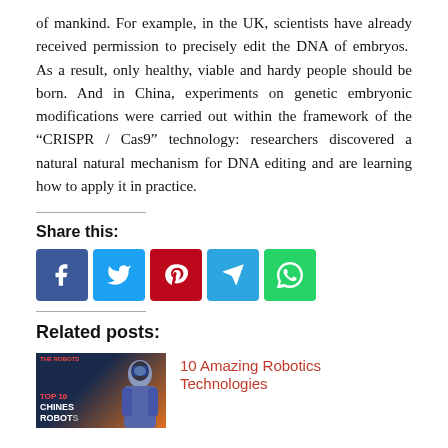of mankind. For example, in the UK, scientists have already received permission to precisely edit the DNA of embryos. As a result, only healthy, viable and hardy people should be born. And in China, experiments on genetic embryonic modifications were carried out within the framework of the “CRISPR / Cas9” technology: researchers discovered a natural natural mechanism for DNA editing and are learning how to apply it in practice.
Share this:
[Figure (infographic): Social share buttons: Facebook (blue), Twitter (light blue), Pinterest (red), Telegram (blue), WhatsApp (green)]
Related posts:
[Figure (photo): Thumbnail image for '10 Amazing Robotics Technologies' showing a person in a futuristic helmet with orange and dark blue background and text 'TOP 10 CHINES ROBOT']
10 Amazing Robotics Technologies